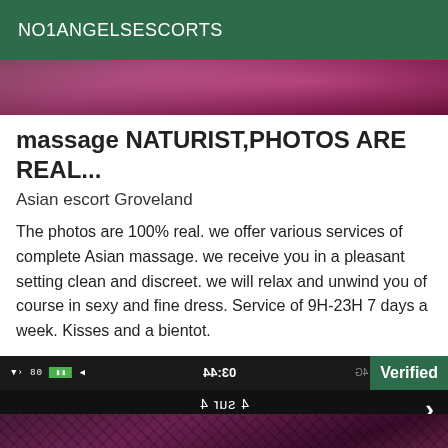NO1ANGELSESCORTS
[Figure (photo): Close-up photo of a person in purple/pink clothing, cropped at top of listing]
massage NATURIST,PHOTOS ARE REAL...
Asian escort Groveland
The photos are 100% real. we offer various services of complete Asian massage. we receive you in a pleasant setting clean and discreet. we will relax and unwind you of course in sexy and fine dress. Service of 9H-23H 7 days a week. Kisses and a bientot.
[Figure (screenshot): Phone screenshot showing status bar with time 03:44, battery indicator, and '4 sur 4' text. Verified badge in green. Arrow navigation button. Below is a photo showing a person in fishnet and purple clothing.]